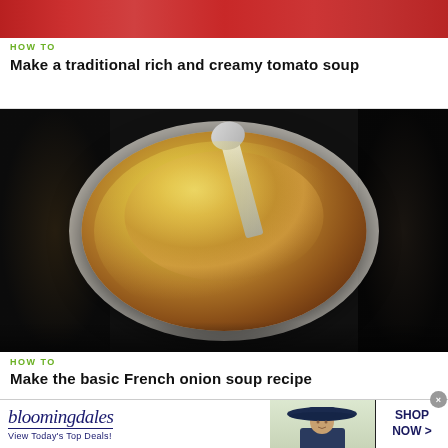[Figure (photo): Partial top image of tomato soup in a red bowl, cropped]
HOW TO
Make a traditional rich and creamy tomato soup
[Figure (photo): Bowl of French onion soup with melted cheese on top and a spoon, on a white plate, dark background on sides]
HOW TO
Make the basic French onion soup recipe
[Figure (other): Bloomingdale's advertisement banner: logo, 'View Today's Top Deals!', model with wide-brim hat, 'SHOP NOW >' button]